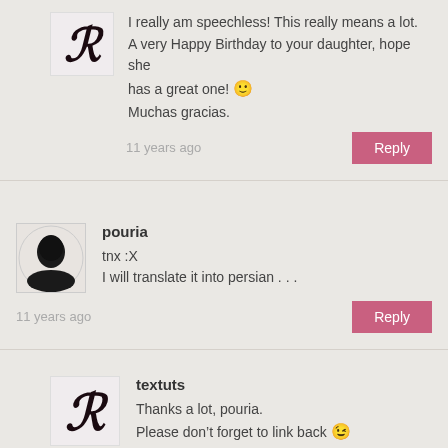[Figure (illustration): Avatar with stylized R letter in dark red/maroon on light background]
I really am speechless! This really means a lot. A very Happy Birthday to your daughter, hope she has a great one! 🙂 Muchas gracias.
11 years ago
Reply
[Figure (photo): Avatar showing a dark silhouette profile photo]
pouria
tnx :X
I will translate it into persian . . .
11 years ago
Reply
[Figure (illustration): Avatar with stylized R letter in dark red/maroon on light background (textuts)]
textuts
Thanks a lot, pouria.
Please don't forget to link back 😉
11 years ago
Reply